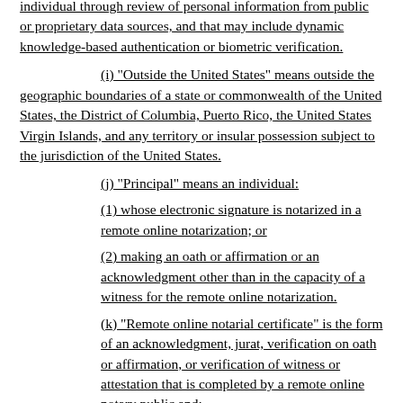individual through review of personal information from public or proprietary data sources, and that may include dynamic knowledge-based authentication or biometric verification.
(i) "Outside the United States" means outside the geographic boundaries of a state or commonwealth of the United States, the District of Columbia, Puerto Rico, the United States Virgin Islands, and any territory or insular possession subject to the jurisdiction of the United States.
(j) "Principal" means an individual:
(1) whose electronic signature is notarized in a remote online notarization; or
(2) making an oath or affirmation or an acknowledgment other than in the capacity of a witness for the remote online notarization.
(k) "Remote online notarial certificate" is the form of an acknowledgment, jurat, verification on oath or affirmation, or verification of witness or attestation that is completed by a remote online notary public and:
(1) contains the online notary public's electronic signature, electronic seal, title, commission number, and